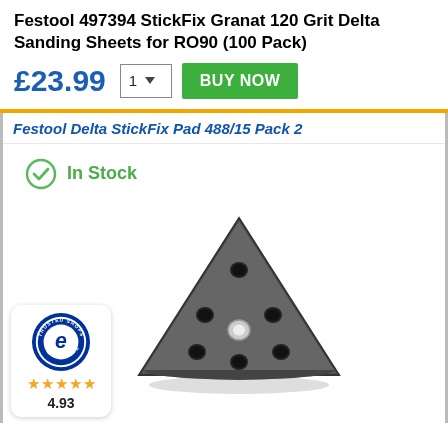Festool 497394 StickFix Granat 120 Grit Delta Sanding Sheets for RO90 (100 Pack)
£23.99
[Figure (screenshot): Buy Now button with quantity selector showing 1 and a green BUY NOW button]
Festool Delta StickFix Pad 488/15 Pack 2
In Stock
[Figure (photo): Festool Delta StickFix sanding pad - triangular grey pad with holes for dust extraction and central mounting screw]
[Figure (logo): Trusted Shops guarantee badge with e logo, 5 star rating and score of 4.93]